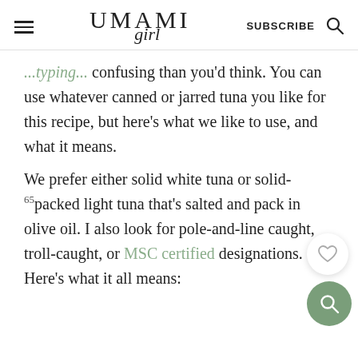UMAMI girl | SUBSCRIBE
confusing than you'd think. You can use whatever canned or jarred tuna you like for this recipe, but here's what we like to use, and what it means.
We prefer either solid white tuna or solid-packed light tuna that's salted and packed in olive oil. I also look for pole-and-line caught, troll-caught, or MSC certified designations. Here's what it all means: